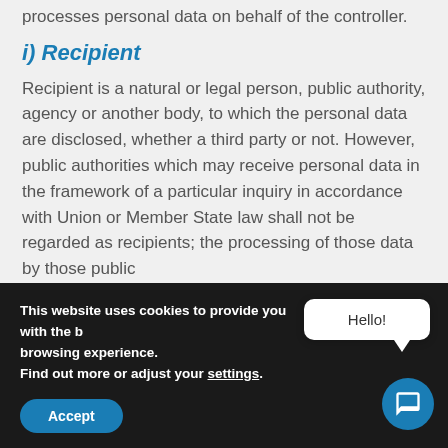processes personal data on behalf of the controller.
i) Recipient
Recipient is a natural or legal person, public authority, agency or another body, to which the personal data are disclosed, whether a third party or not. However, public authorities which may receive personal data in the framework of a particular inquiry in accordance with Union or Member State law shall not be regarded as recipients; the processing of those data by those public
This website uses cookies to provide you with the best browsing experience. Find out more or adjust your settings.
Accept
Hello!